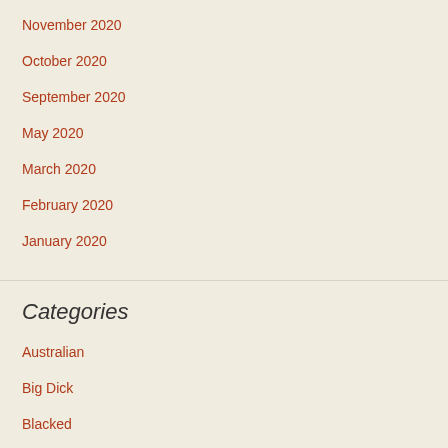November 2020
October 2020
September 2020
May 2020
March 2020
February 2020
January 2020
Categories
Australian
Big Dick
Blacked
Blowbang